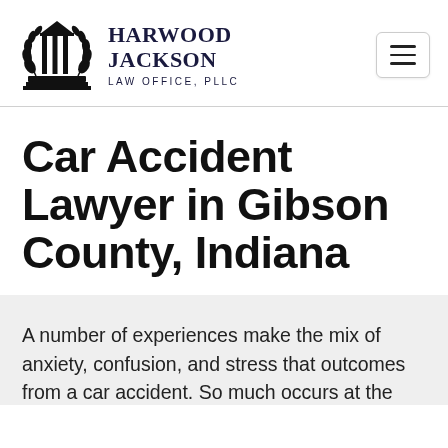[Figure (logo): Harwood Jackson Law Office, PLLC logo with courthouse/pillar icon and laurel wreath]
Car Accident Lawyer in Gibson County, Indiana
A number of experiences make the mix of anxiety, confusion, and stress that outcomes from a car accident. So much occurs at the